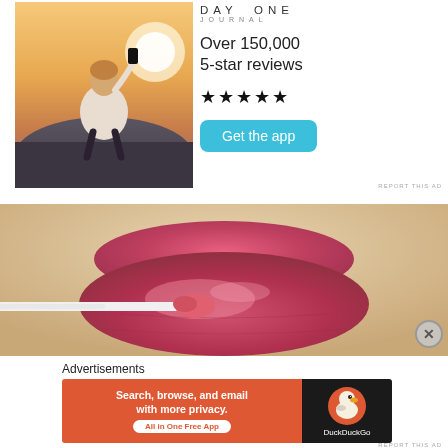[Figure (photo): Advertisement: Man sitting on rocks taking a photo at sunset, holding a phone up]
DAY ONE
JOURNAL
Over 150,000
5-star reviews
★★★★★
Get the app
REPORT THIS AD
[Figure (photo): Advertisement: Close-up of lips being applied with pink lip gloss using an applicator wand]
Advertisements
[Figure (photo): DuckDuckGo advertisement banner: Search, browse, and email with more privacy. All in One Free App.]
REPORT THIS AD